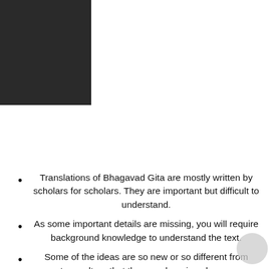[Figure (other): Dark/black rectangle in top-left corner of the page, partial image crop]
Translations of Bhagavad Gita are mostly written by scholars for scholars. They are important but difficult to understand.
As some important details are missing, you will require background knowledge to understand the text.
Some of the ideas are so new or so different from western culture that they can be missed or worse, dismissed.